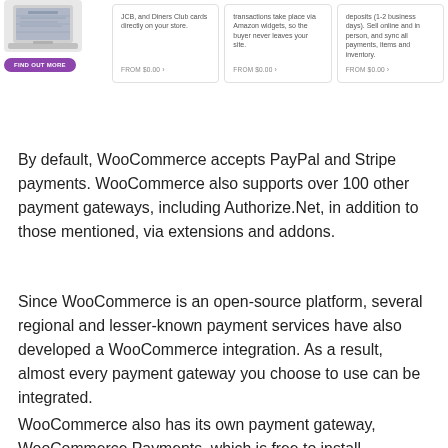[Figure (screenshot): Screenshot of WooCommerce payment gateway cards. Left: a laptop image with 'FIND OUT MORE' purple button. Three cards on the right showing payment options with 'FROM $0.00 >' links. Card 1 mentions JCB and Diners Club cards directly on your store. Card 2 mentions transactions take place via Amazon widgets, so the buyer never leaves your site. Card 3 mentions deposits (1-2 business days), sell online and in person, and sync all payments, items and inventory.]
By default, WooCommerce accepts PayPal and Stripe payments. WooCommerce also supports over 100 other payment gateways, including Authorize.Net, in addition to those mentioned, via extensions and addons.
Since WooCommerce is an open-source platform, several regional and lesser-known payment services have also developed a WooCommerce integration. As a result, almost every payment gateway you choose to use can be integrated.
WooCommerce also has its own payment gateway, WooCommerce Payments, which is free to install